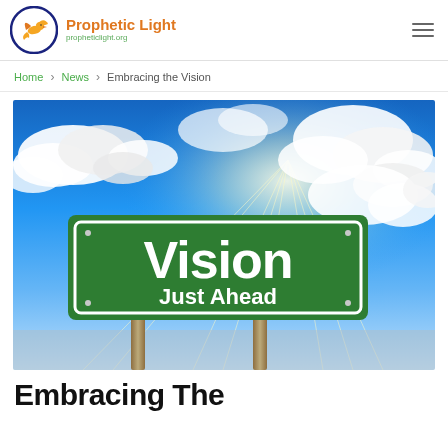Prophetic Light | propheticlight.org
Home > News > Embracing the Vision
[Figure (photo): A green road sign reading 'Vision Just Ahead' against a dramatic blue sky with white clouds and sunbeams]
Embracing The